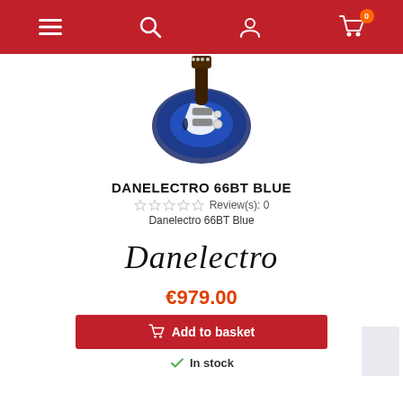Navigation header with menu, search, user account, and cart (0 items) icons
[Figure (photo): Blue Danelectro 66BT electric guitar, partially visible, dark blue burst finish with white pickguard and chrome hardware]
DANELECTRO 66BT BLUE
Review(s): 0
Danelectro 66BT Blue
[Figure (logo): Danelectro brand logo in stylized italic script font]
€979.00
Add to basket
In stock